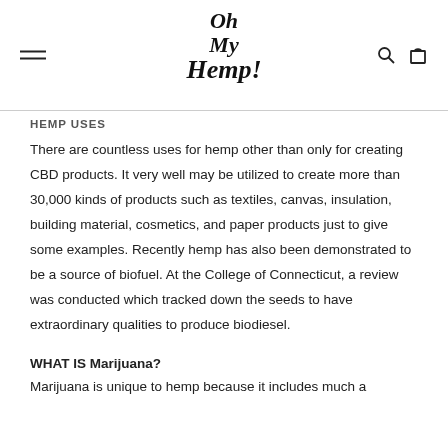Oh My Hemp!
HEMP USES
There are countless uses for hemp other than only for creating CBD products. It very well may be utilized to create more than 30,000 kinds of products such as textiles, canvas, insulation, building material, cosmetics, and paper products just to give some examples. Recently hemp has also been demonstrated to be a source of biofuel. At the College of Connecticut, a review was conducted which tracked down the seeds to have extraordinary qualities to produce biodiesel.
WHAT IS Marijuana?
Marijuana is unique to hemp because it includes much a